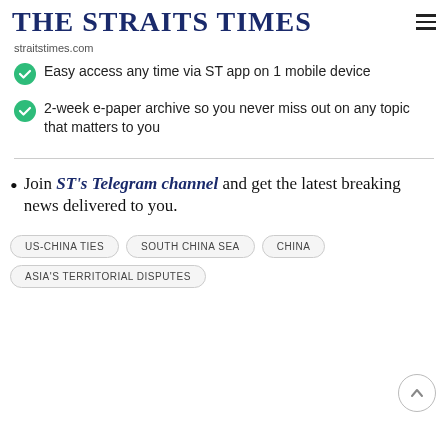THE STRAITS TIMES
straitstimes.com
Easy access any time via ST app on 1 mobile device
2-week e-paper archive so you never miss out on any topic that matters to you
Join ST's Telegram channel and get the latest breaking news delivered to you.
US-CHINA TIES
SOUTH CHINA SEA
CHINA
ASIA'S TERRITORIAL DISPUTES